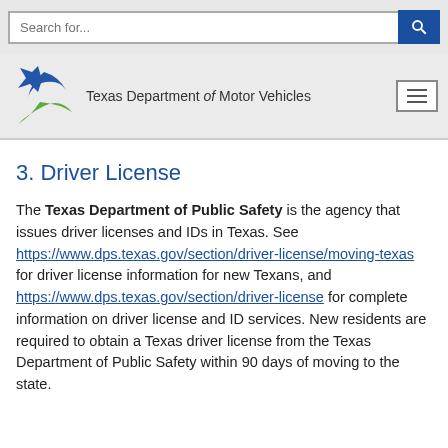Search for...
[Figure (logo): Texas Department of Motor Vehicles logo with star and swoosh graphic]
3. Driver License
The Texas Department of Public Safety is the agency that issues driver licenses and IDs in Texas. See https://www.dps.texas.gov/section/driver-license/moving-texas for driver license information for new Texans, and https://www.dps.texas.gov/section/driver-license for complete information on driver license and ID services. New residents are required to obtain a Texas driver license from the Texas Department of Public Safety within 90 days of moving to the state.